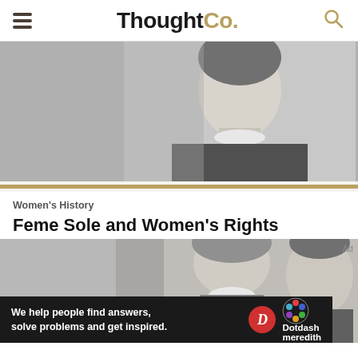ThoughtCo.
[Figure (photo): Black and white portrait photograph of a woman from the late 19th century, wearing a dark dress with high collar and white ruffled neckline]
Women's History
Feme Sole and Women's Rights
[Figure (photo): Black and white photograph showing two women, partially cropped, historical portrait]
We help people find answers, solve problems and get inspired. Dotdash meredith